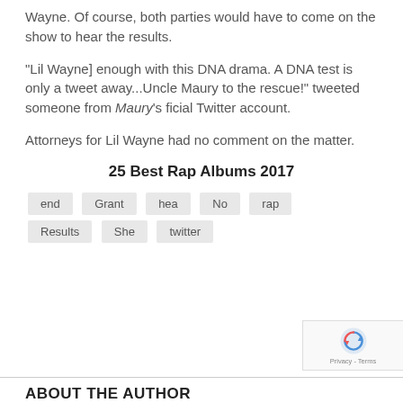Wayne. Of course, both parties would have to come on the show to hear the results.
"Lil Wayne] enough with this DNA drama. A DNA test is only a tweet away...Uncle Maury to the rescue!" tweeted someone from Maury's ficial Twitter account.
Attorneys for Lil Wayne had no comment on the matter.
25 Best Rap Albums 2017
end
Grant
hea
No
rap
Results
She
twitter
ABOUT THE AUTHOR